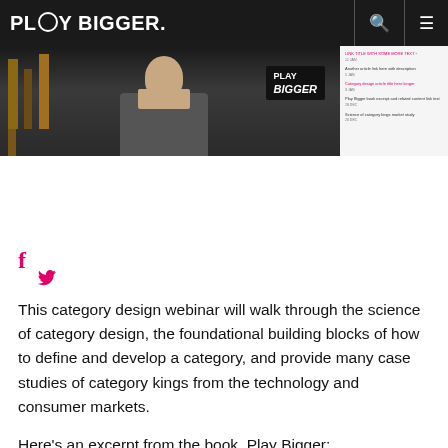PLAY BIGGER
[Figure (photo): Photo of a man sitting at a table with a Play Bigger sign in the background, with a sidebar showing related article links]
[Figure (other): Social media icons: Facebook (f) and Twitter bird in pink/magenta]
This category design webinar will walk through the science of category design, the foundational building blocks of how to define and develop a category, and provide many case studies of category kings from the technology and consumer markets.
Here's an excerpt from the book, Play Bigger: